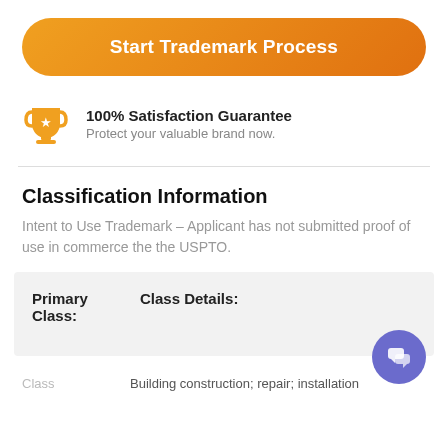Start Trademark Process
100% Satisfaction Guarantee
Protect your valuable brand now.
Classification Information
Intent to Use Trademark – Applicant has not submitted proof of use in commerce the the USPTO.
| Primary Class: | Class Details: |
| --- | --- |
Class    Building construction; repair; installation